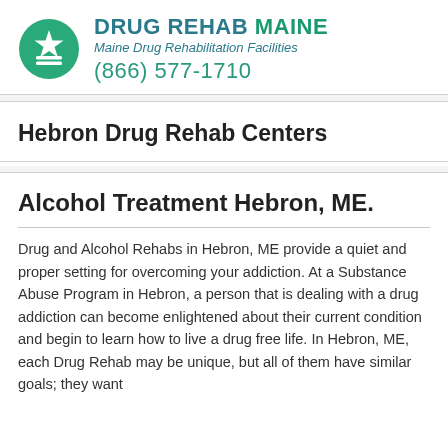[Figure (logo): Drug Rehab Maine logo - green circle with white star and horizontal lines]
DRUG REHAB MAINE
Maine Drug Rehabilitation Facilities
(866) 577-1710
Hebron Drug Rehab Centers
Alcohol Treatment Hebron, ME.
Drug and Alcohol Rehabs in Hebron, ME provide a quiet and proper setting for overcoming your addiction. At a Substance Abuse Program in Hebron, a person that is dealing with a drug addiction can become enlightened about their current condition and begin to learn how to live a drug free life. In Hebron, ME, each Drug Rehab may be unique, but all of them have similar goals; they want